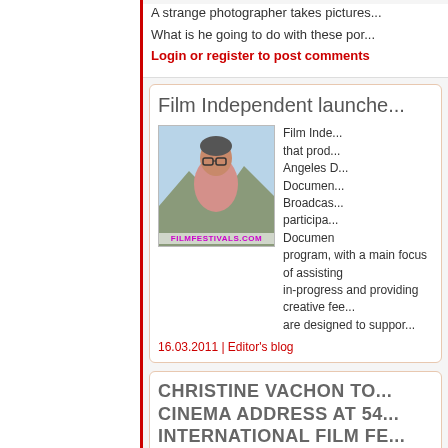A strange photographer takes pictures... What is he going to do with these por...
Login or register to post comments
Film Independent launche...
[Figure (photo): Photo of a person outdoors, with FILMFESTIVALS.COM watermark]
Film Inde... that prod... Angeles D... Documen... Broadcas... participa... Documen program, with a main focus of assisting in-progress and providing creative fee... are designed to suppor...
16.03.2011 | Editor's blog
CHRISTINE VACHON TO... CINEMA ADDRESS AT 54... INTERNATIONAL FILM FE...
[Figure (logo): SFIFF circular logo/badge in pink and orange]
Acclame... Independ... San Fra... Society a...